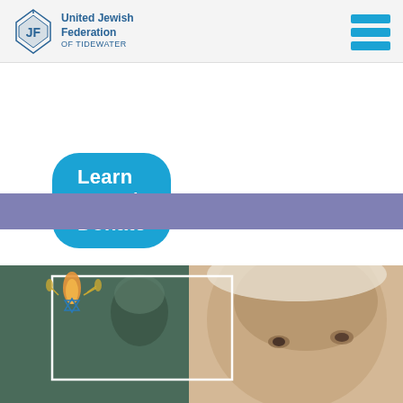[Figure (logo): United Jewish Federation of Tidewater logo with Star of David emblem and text]
[Figure (other): Hamburger menu icon made of three horizontal blue bars]
Learn More / Donate
[Figure (other): Purple/lavender horizontal band]
[Figure (photo): Photo composite showing an elderly person with white hair in foreground and a black-and-white vintage photo of a young person in background, with a Star of David / Yad Vashem-style logo overlay]